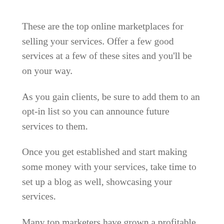These are the top online marketplaces for selling your services. Offer a few good services at a few of these sites and you'll be on your way.
As you gain clients, be sure to add them to an opt-in list so you can announce future services to them.
Once you get established and start making some money with your services, take time to set up a blog as well, showcasing your services.
Many top marketers have grown a profitable web business by starting out selling services. This may be a great path for you to follow as well.